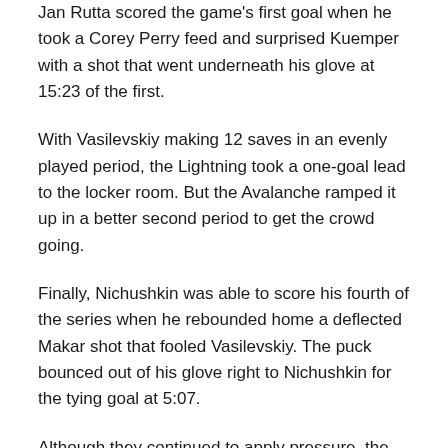Jan Rutta scored the game's first goal when he took a Corey Perry feed and surprised Kuemper with a shot that went underneath his glove at 15:23 of the first.
With Vasilevskiy making 12 saves in an evenly played period, the Lightning took a one-goal lead to the locker room. But the Avalanche ramped it up in a better second period to get the crowd going.
Finally, Nichushkin was able to score his fourth of the series when he rebounded home a deflected Makar shot that fooled Vasilevskiy. The puck bounced out of his glove right to Nichushkin for the tying goal at 5:07.
Although they continued to apply pressure, the Avalanche never went ahead. Vasilevskiy remained sharp by making 13 saves in the period.